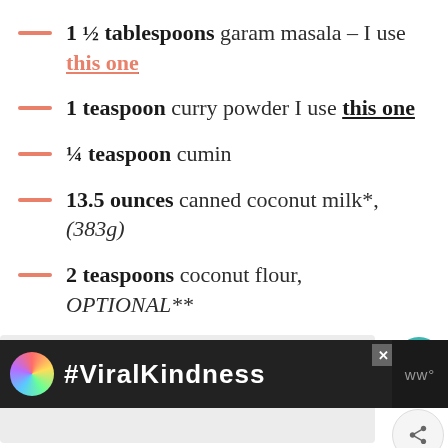1 ½ tablespoons garam masala – I use this one
1 teaspoon curry powder I use this one
¼ teaspoon cumin
13.5 ounces canned coconut milk*, (383g)
2 teaspoons coconut flour, OPTIONAL**
1 small lime, juice of
[Figure (screenshot): Grey placeholder content box with heart/share social buttons on the right showing 58.6K likes]
[Figure (screenshot): Advertisement banner with rainbow and #ViralKindness text on dark background, WW logo on right]